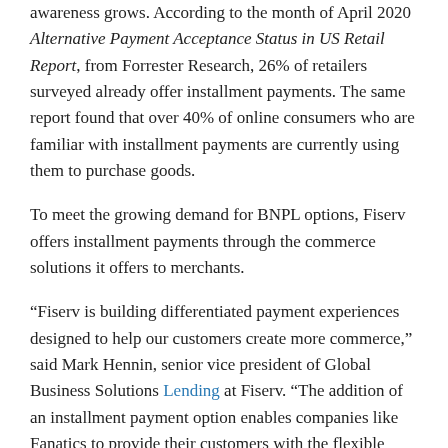awareness grows. According to the month of April 2020 Alternative Payment Acceptance Status in US Retail Report, from Forrester Research, 26% of retailers surveyed already offer installment payments. The same report found that over 40% of online consumers who are familiar with installment payments are currently using them to purchase goods.
To meet the growing demand for BNPL options, Fiserv offers installment payments through the commerce solutions it offers to merchants.
“Fiserv is building differentiated payment experiences designed to help our customers create more commerce,” said Mark Hennin, senior vice president of Global Business Solutions Lending at Fiserv. “The addition of an installment payment option enables companies like Fanatics to provide their customers with the flexible purchasing capabilities that consumers desire.”